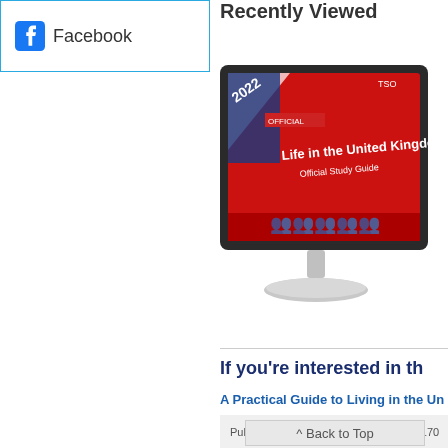[Figure (screenshot): Facebook button with Facebook icon and text 'Facebook', inside a light blue border box]
Recently Viewed
[Figure (photo): Monitor/iMac displaying book cover 'Life in the United Kingdom Official Study Guide 2022' with red background]
If you're interested in th
A Practical Guide to Living in the Un
Published:06 Mar 2015   ISBN: 9780117070
^ Back to Top